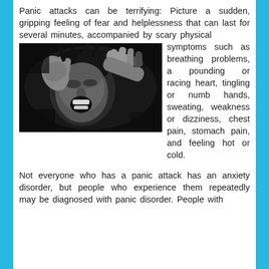Panic attacks can be terrifying: Picture a sudden, gripping feeling of fear and helplessness that can last for several minutes, accompanied by scary physical symptoms such as breathing problems, a pounding or racing heart, tingling or numb hands, sweating, weakness or dizziness, chest pain, stomach pain, and feeling hot or cold.
[Figure (photo): Black and white photo of a person in distress, hands gripping head, mouth open in a scream, eyes shut tight.]
Not everyone who has a panic attack has an anxiety disorder, but people who experience them repeatedly may be diagnosed with panic disorder. People with